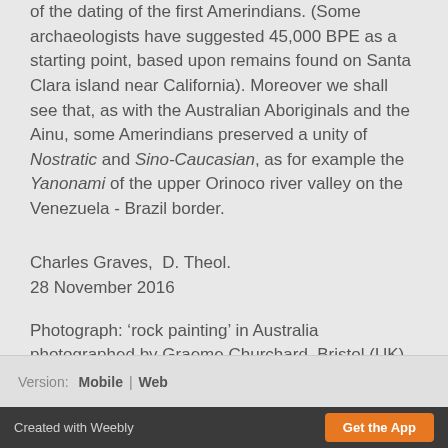of the dating of the first Amerindians. (Some archaeologists have suggested 45,000 BPE as a starting point, based upon remains found on Santa Clara island near California). Moreover we shall see that, as with the Australian Aboriginals and the Ainu, some Amerindians preserved a unity of Nostratic and Sino-Caucasian, as for example the Yanonami of the upper Orinoco river valley on the Venezuela - Brazil border.
Charles Graves,  D. Theol.
28 November 2016
Photograph: ‘rock painting’ in Australia photographed by Graeme Churchard, Bristol (UK)
Version: Mobile | Web
Created with Weebly  Get the App